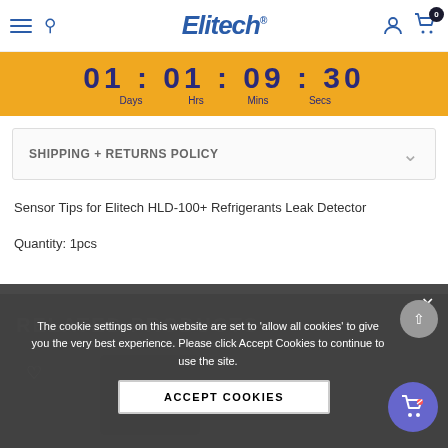Elitech
[Figure (screenshot): Countdown timer bar showing 01:01:09:30 with Days, Hrs, Mins, Secs labels on an orange background]
SHIPPING + RETURNS POLICY
Sensor Tips for Elitech HLD-100+ Refrigerants Leak Detector
Quantity: 1pcs
RELATED PRODUCTS
The cookie settings on this website are set to 'allow all cookies' to give you the very best experience. Please click Accept Cookies to continue to use the site.